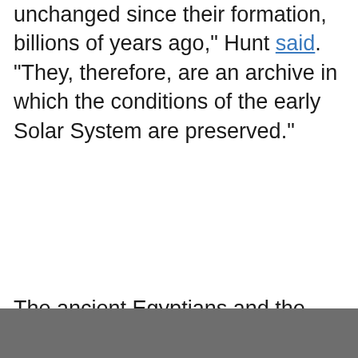unchanged since their formation, billions of years ago," Hunt said. "They, therefore, are an archive in which the conditions of the early Solar System are preserved."
The ancient Egyptians and the Inuit didn't know